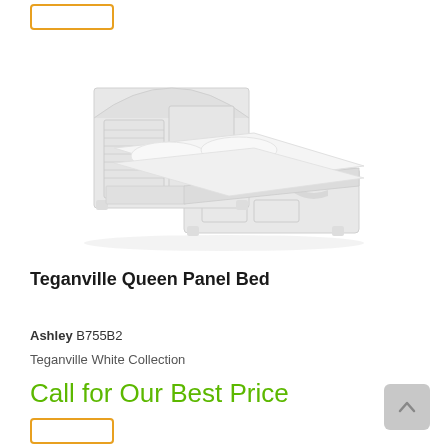[Figure (photo): White Teganville Queen Panel Bed product photo showing headboard with arched shutter-style panels and footboard with wave detail, dressed with white bedding]
Teganville Queen Panel Bed
Ashley B755B2
Teganville White Collection
Call for Our Best Price